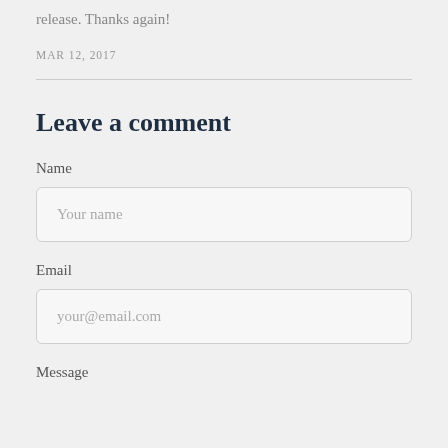release. Thanks again!
MAR 12, 2017
Leave a comment
Name
Your name
Email
your@email.com
Message